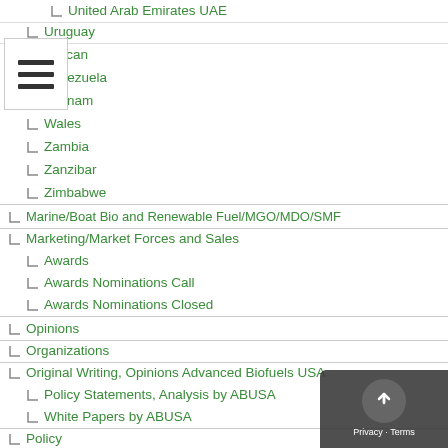United Arab Emirates UAE
Uruguay
Vatican
Venezuela
Vietnam
Wales
Zambia
Zanzibar
Zimbabwe
Marine/Boat Bio and Renewable Fuel/MGO/MDO/SMF
Marketing/Market Forces and Sales
Awards
Awards Nominations Call
Awards Nominations Closed
Opinions
Organizations
Original Writing, Opinions Advanced Biofuels USA
Policy Statements, Analysis by ABUSA
White Papers by ABUSA
Policy
Presentations
Biofuels Digest Conferences
DOE Conferences